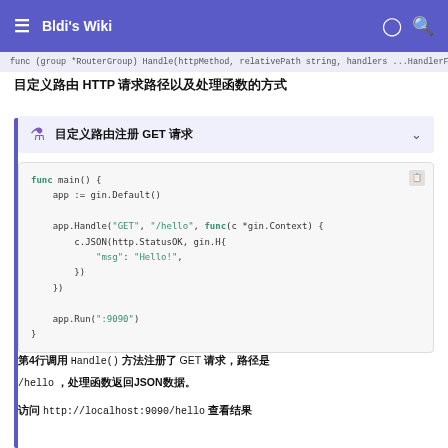≡ Bldi's Wiki 💡 🔍
func (group *RouterGroup) Handle(httpMethod, relativePath s...
自定义路由 HTTP 请求路径以及处理函数的方式
🧪 自定义路由注册 GET 请求
[Figure (screenshot): Code block showing Go gin framework HTTP handler registration]
第4行调用 Handle() 方法注册了 GET 请求，路径是 /hello，处理函数返回JSON数据。
访问 http://localhost:9090/hello 查看结果